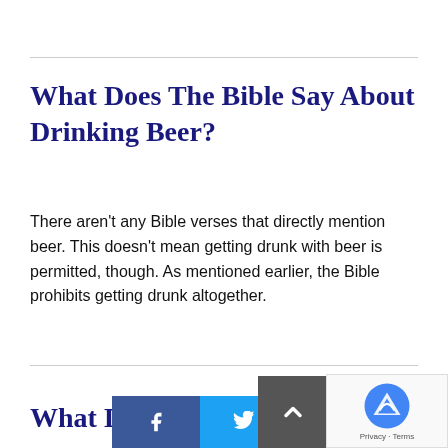What Does The Bible Say About Drinking Beer?
There aren't any Bible verses that directly mention beer. This doesn't mean getting drunk with beer is permitted, though. As mentioned earlier, the Bible prohibits getting drunk altogether.
What Do...ut